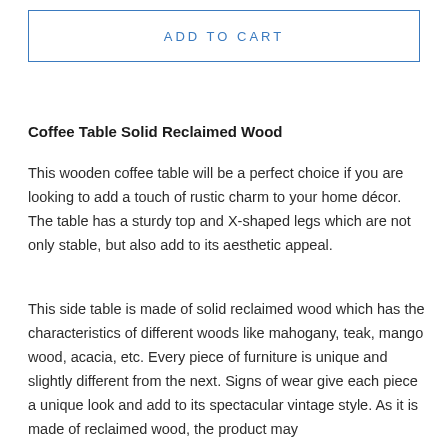ADD TO CART
Coffee Table Solid Reclaimed Wood
This wooden coffee table will be a perfect choice if you are looking to add a touch of rustic charm to your home décor. The table has a sturdy top and X-shaped legs which are not only stable, but also add to its aesthetic appeal.
This side table is made of solid reclaimed wood which has the characteristics of different woods like mahogany, teak, mango wood, acacia, etc. Every piece of furniture is unique and slightly different from the next. Signs of wear give each piece a unique look and add to its spectacular vintage style. As it is made of reclaimed wood, the product may